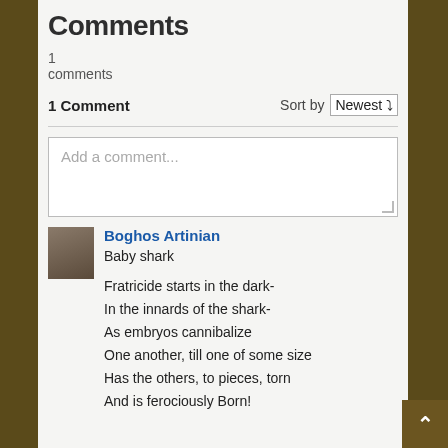Comments
1
comments
1 Comment    Sort by  Newest
Add a comment...
Boghos Artinian
Baby shark

Fratricide starts in the dark-
In the innards of the shark-
As embryos cannibalize
One another, till one of some size
Has the others, to pieces, torn
And is ferociously Born!